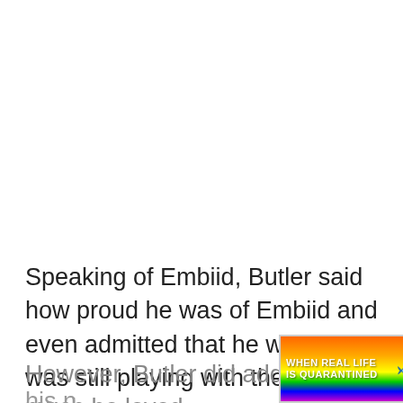Speaking of Embiid, Butler said how proud he was of Embiid and even admitted that he wishes he was still playing with the big man.
However, Butler did add how much he loved his n...
[Figure (screenshot): Advertisement banner for BitLife mobile game with rainbow gradient background, showing text 'WHEN REAL LIFE IS QUARANTINED' with a sperm emoji, BitLife logo, and a star-eyes emoji wearing a mask with thumbs up emoji. Has close button and question mark button in top right corner.]